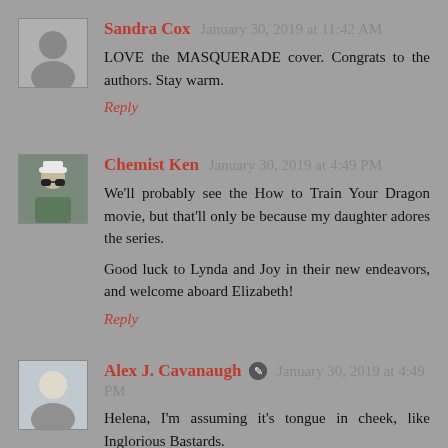Sandra Cox  January 30, 2019 at 11:42 AM
LOVE the MASQUERADE cover. Congrats to the authors. Stay warm.
Reply
Chemist Ken  January 30, 2019 at 4:49 PM
We'll probably see the How to Train Your Dragon movie, but that'll only be because my daughter adores the series.
Good luck to Lynda and Joy in their new endeavors, and welcome aboard Elizabeth!
Reply
Alex J. Cavanaugh  January 30, 2019 at 4:49 PM
Helena, I'm assuming it's tongue in cheek, like Inglorious Bastards.
Nile, wars are chilly but not so cold as some…